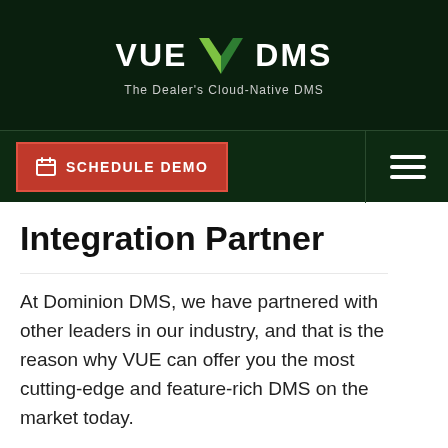VUE DMS — The Dealer's Cloud-Native DMS
[Figure (logo): VUE DMS logo with green chevron/arrow icon between the words VUE and DMS, on dark green background. Tagline: The Dealer's Cloud-Native DMS]
SCHEDULE DEMO
Integration Partner
At Dominion DMS, we have partnered with other leaders in our industry, and that is the reason why VUE can offer you the most cutting-edge and feature-rich DMS on the market today.
When dealers consider a DMS that is efficient,